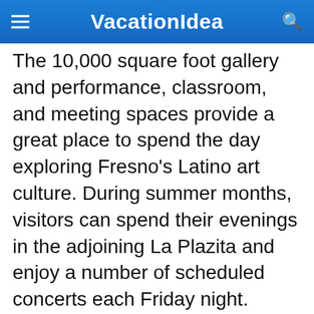VacationIdea
The 10,000 square foot gallery and performance, classroom, and meeting spaces provide a great place to spend the day exploring Fresno's Latino art culture. During summer months, visitors can spend their evenings in the adjoining La Plazita and enjoy a number of scheduled concerts each Friday night.
1630 Van Ness, Fresno, CA 93721, Phone: 559-266-2623
In-depth reviews of our favorite places: